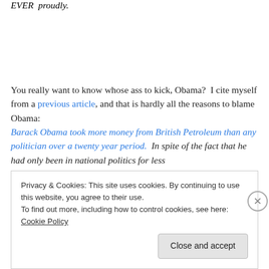EVER  proudly.
You really want to know whose ass to kick, Obama?  I cite myself from a previous article, and that is hardly all the reasons to blame Obama:
Barack Obama took more money from British Petroleum than any politician over a twenty year period.  In spite of the fact that he had only been in national politics for less
Privacy & Cookies: This site uses cookies. By continuing to use this website, you agree to their use.
To find out more, including how to control cookies, see here: Cookie Policy
Close and accept